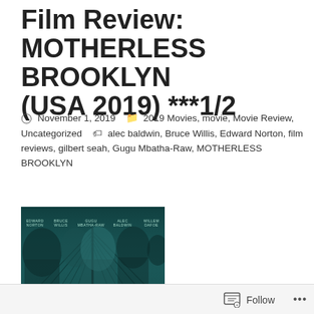Film Review: MOTHERLESS BROOKLYN (USA 2019) ***1/2
November 1, 2019   2019 Movies, movie, Movie Review, Uncategorized   alec baldwin, Bruce Willis, Edward Norton, film reviews, gilbert seah, Gugu Mbatha-Raw, MOTHERLESS BROOKLYN
[Figure (photo): Movie poster for Motherless Brooklyn showing cast members Edward Norton, Bruce Willis, Gugu Mbatha-Raw, Alec Baldwin, Willem Dafoe against a teal/dark background with a bridge structure]
Follow ···